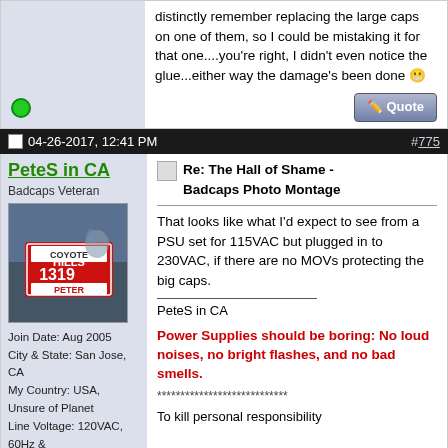distinctly remember replacing the large caps on one of them, so I could be mistaking it for that one....you're right, I didn't even notice the glue...either way the damage's been done 😬
04-26-2017, 12:41 PM
#775
PeteS in CA
Badcaps Veteran
[Figure (photo): User avatar photo showing a name tag or badge with 'COYOTE HILLS 1319 PETER']
Join Date: Aug 2005
City & State: San Jose, CA
My Country: USA, Unsure of Planet
Line Voltage: 120VAC, 60Hz & 115VAC, 400Hz
I'm a: Professional Tech
Posts: 3,399
Re: The Hall of Shame - Badcaps Photo Montage
That looks like what I'd expect to see from a PSU set for 115VAC but plugged in to 230VAC, if there are no MOVs protecting the big caps.
PeteS in CA
Power Supplies should be boring: No loud noises, no bright flashes, and no bad smells.
****************************
To kill personal responsibility